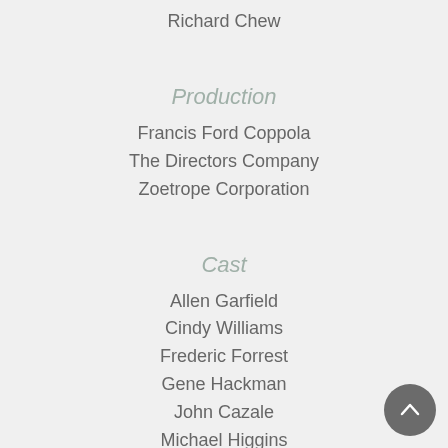Richard Chew
Production
Francis Ford Coppola
The Directors Company
Zoetrope Corporation
Cast
Allen Garfield
Cindy Williams
Frederic Forrest
Gene Hackman
John Cazale
Michael Higgins
Music
David Shire
Awards